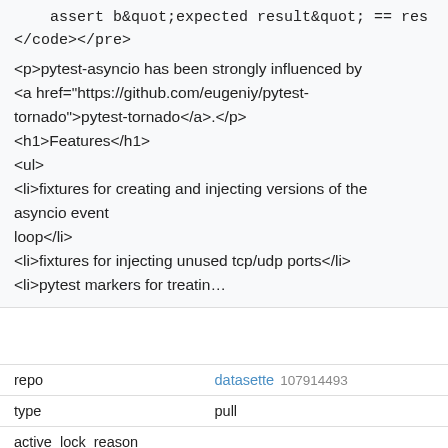assert b&quot;expected result&quot; == res
</code></pre>
<p>pytest-asyncio has been strongly influenced by <a href="https://github.com/eugeniy/pytest-tornado">pytest-tornado</a>.</p>
<h1>Features</h1>
<ul>
<li>fixtures for creating and injecting versions of the asyncio event
loop</li>
<li>fixtures for injecting unused tcp/udp ports</li>
<li>pytest markers for treatin…
| repo | datasette 107914493 |
| type | pull |
| active_lock_reason |  |
| performed_via_github_app |  |